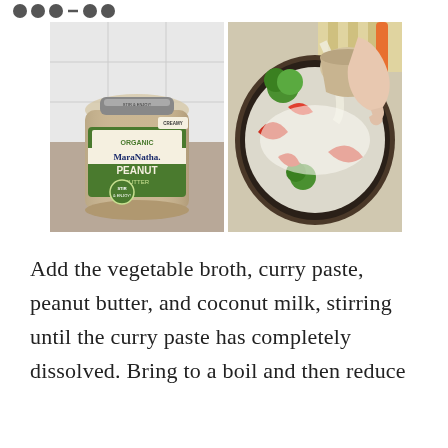• • • / • •
[Figure (photo): A jar of Organic MaraNatha Peanut Butter (Creamy) with a white tile background]
[Figure (photo): A pan with broccoli, red peppers, and other vegetables with coconut milk or sauce being poured in from a small bowl, with an orange spatula visible in the background]
Add the vegetable broth, curry paste, peanut butter, and coconut milk, stirring until the curry paste has completely dissolved. Bring to a boil and then reduce